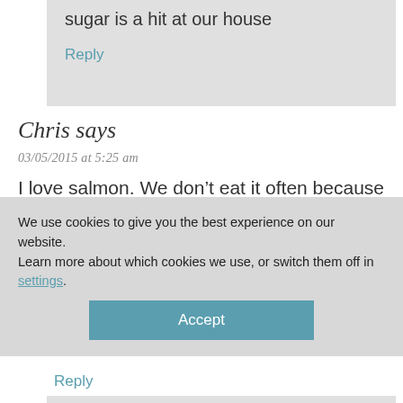sugar is a hit at our house
Reply
Chris says
03/05/2015 at 5:25 am
I love salmon. We don't eat it often because
We use cookies to give you the best experience on our website.
Learn more about which cookies we use, or switch them off in settings.
Accept
Reply